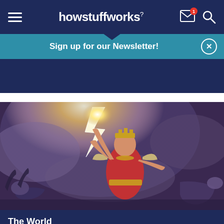howstuffworks
Sign up for our Newsletter!
[Figure (illustration): Painting of a warrior figure in red garments with gold crown and wings, raising a glowing weapon amid lightning, with fallen figures in the background.]
The World